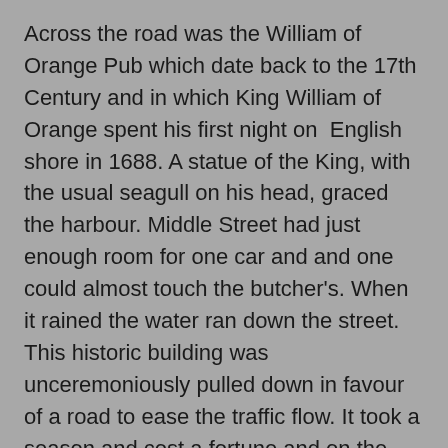Across the road was the William of Orange Pub which date back to the 17th Century and in which King William of Orange spent his first night on  English shore in 1688. A statue of the King, with the usual seagull on his head, graced the harbour. Middle Street had just enough room for one car and and one could almost touch the butcher's. When it rained the water ran down the street. This historic building was unceremoniously pulled down in favour of a road to ease the traffic flow. It took a season and cost a fortune and on the first day of the road opening cars parked on it this narrowing the road again. It was the most expensive car park ever and took years to receive a no parking zone. What a cultural crime.
Brixham in those days was a working harbour with the daily fish market and the smell of fish a few yards away. It was fun to watch the fish being hauled ashore and hear the auctioneer's prattle.  The harbour was full of trawlers and sea gulls. Brixham seagulls are garrulous and noisy.
The little town was built layer upon layer into the cliff. The